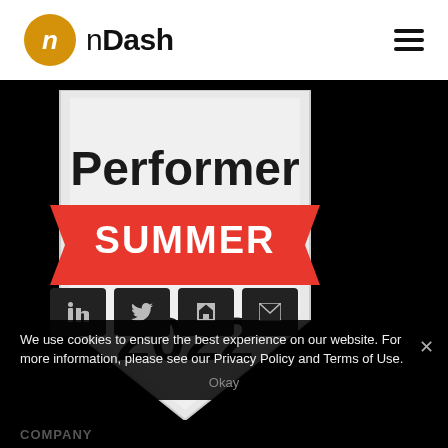[Figure (logo): nDash logo with orange circle containing lowercase n, followed by nDash text]
[Figure (illustration): G2 badge: Performer Summer 2022, shield shape with white/light gray background, red banner reading SUMMER, bold text Performer and 2022]
[Figure (infographic): Four social media icon buttons: LinkedIn, Twitter, RSS, Email]
We use cookies to ensure the best experience on our website. For more information, please see our Privacy Policy and Terms of Use.
Okay
COMPANY